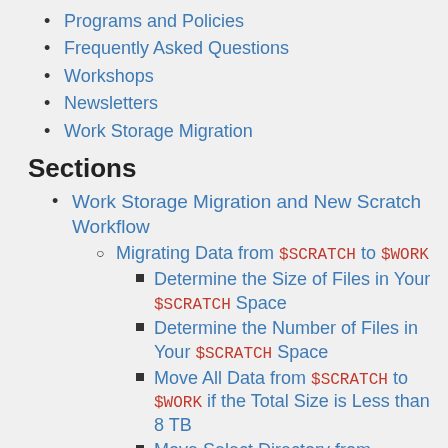Programs and Policies
Frequently Asked Questions
Workshops
Newsletters
Work Storage Migration
Sections
Work Storage Migration and New Scratch Workflow
Migrating Data from $SCRATCH to $WORK
Determine the Size of Files in Your $SCRATCH Space
Determine the Number of Files in Your $SCRATCH Space
Move All Data from $SCRATCH to $WORK if the Total Size is Less than 8 TB
Move Select Directory from $SCRATCH to $WORK if the Total